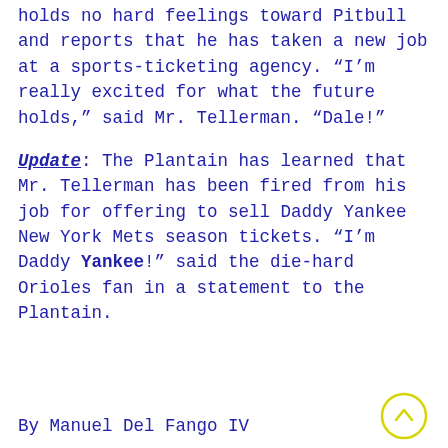holds no hard feelings toward Pitbull and reports that he has taken a new job at a sports-ticketing agency. “I’m really excited for what the future holds,” said Mr. Tellerman. “Dale!”
Update: The Plantain has learned that Mr. Tellerman has been fired from his job for offering to sell Daddy Yankee New York Mets season tickets. “I’m Daddy Yankee!” said the die-hard Orioles fan in a statement to the Plantain.
By Manuel Del Fango IV